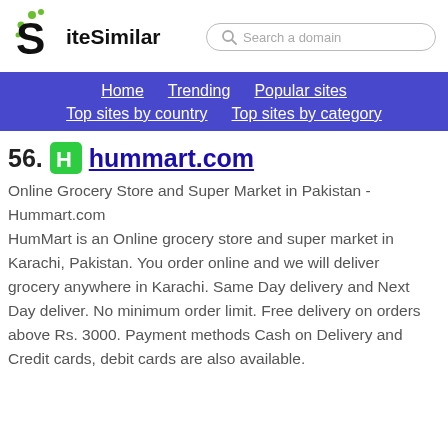SiteSimilar — Search a domain
[Figure (logo): SiteSimilar logo with stylized S and green dots]
Home  Trending  Popular sites  Top sites by country  Top sites by category
56. hummart.com
Online Grocery Store and Super Market in Pakistan - Hummart.com
HumMart is an Online grocery store and super market in Karachi, Pakistan. You order online and we will deliver grocery anywhere in Karachi. Same Day delivery and Next Day deliver. No minimum order limit. Free delivery on orders above Rs. 3000. Payment methods Cash on Delivery and Credit cards, debit cards are also available.